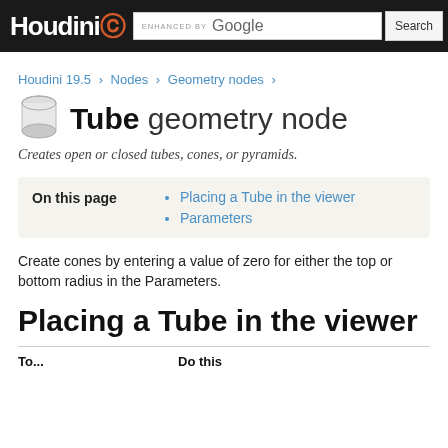Houdini [logo] ENHANCED BY Google [Search button]
Houdini 19.5 > Nodes > Geometry nodes >
Tube geometry node
Creates open or closed tubes, cones, or pyramids.
| On this page | Links |
| --- | --- |
|  | Placing a Tube in the viewer |
|  | Parameters |
Create cones by entering a value of zero for either the top or bottom radius in the Parameters.
Placing a Tube in the viewer
| To... | Do this |
| --- | --- |